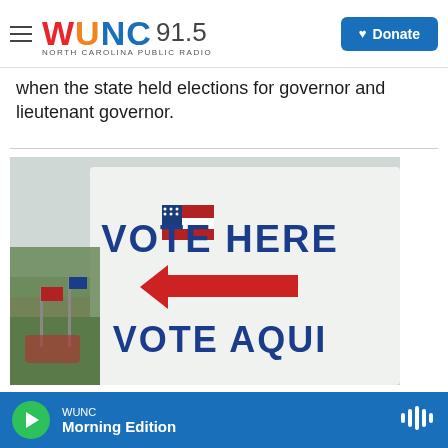WUNC 91.5 North Carolina Public Radio | Donate
when the state held elections for governor and lieutenant governor.
[Figure (photo): A white polling place sign reading VOTE HERE with a red arrow pointing left, and VOTE AQUI below. An American flag is visible on the sign. Background shows blurred trees and flags.]
Politics
WUNC Morning Edition